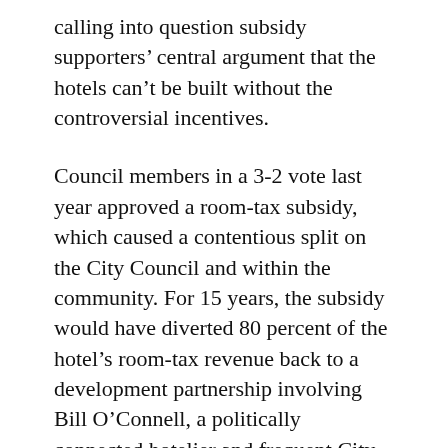calling into question subsidy supporters' central argument that the hotels can't be built without the controversial incentives.
Council members in a 3-2 vote last year approved a room-tax subsidy, which caused a contentious split on the City Council and within the community. For 15 years, the subsidy would have diverted 80 percent of the hotel's room-tax revenue back to a development partnership involving Bill O'Connell, a politically connected hotelier and frequent City Council campaign contributor. The room tax is the city's largest source of revenue.